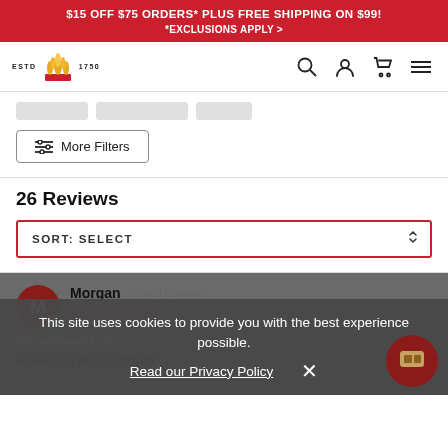$15 OFF $75 ORDERS* PLUS FREE SHIPPING ON $99! *EXCLUSIONS APPLY >
[Figure (logo): Crown/wheat logo with ESTD 1750 text and navigation icons (search, account, cart, menu)]
[Figure (other): Filter pills (3 gray pill placeholders) and More Filters button with slider icon]
26 Reviews
SORT: SELECT
[Figure (other): Review section: Reviewer avatar M (Morgan), Verified Reviewer label, 5 red stars, Recommend: Yes, Amazing and simple! review title]
This site uses cookies to provide you with the best experience possible.
Read our Privacy Policy